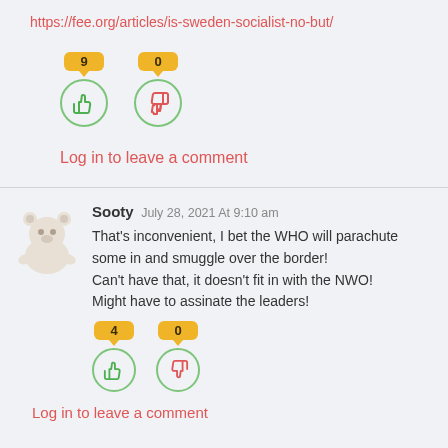https://fee.org/articles/is-sweden-socialist-no-but/
[Figure (infographic): Vote buttons: thumbs up with count 9, thumbs down with count 0]
Log in to leave a comment
Sooty July 28, 2021 At 9:10 am
That's inconvenient, I bet the WHO will parachute some in and smuggle over the border!
Can't have that, it doesn't fit in with the NWO!
Might have to assinate the leaders!
[Figure (infographic): Vote buttons: thumbs up with count 4, thumbs down with count 0]
Log in to leave a comment